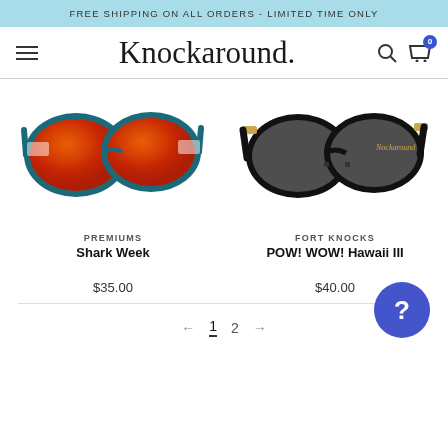FREE SHIPPING ON ALL ORDERS - LIMITED TIME ONLY
[Figure (screenshot): Knockaround brand logo script text in nav bar with hamburger menu, search icon, and cart icon with badge showing 0]
[Figure (photo): Premiums Shark Week sunglasses - blue frame with red mirrored lenses and black/white patterned arms]
PREMIUMS
Shark Week
$35.00
[Figure (photo): Fort Knocks POW! WOW! Hawaii III sunglasses - matte black frame with gold temples and dark grey lenses]
FORT KNOCKS
POW! WOW! Hawaii III
$40.00
← 1 2 →